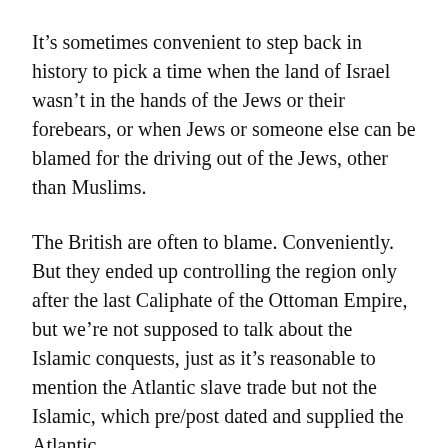It's sometimes convenient to step back in history to pick a time when the land of Israel wasn't in the hands of the Jews or their forebears, or when Jews or someone else can be blamed for the driving out of the Jews, other than Muslims.
The British are often to blame. Conveniently. But they ended up controlling the region only after the last Caliphate of the Ottoman Empire, but we're not supposed to talk about the Islamic conquests, just as it's reasonable to mention the Atlantic slave trade but not the Islamic, which pre/post dated and supplied the Atlantic.